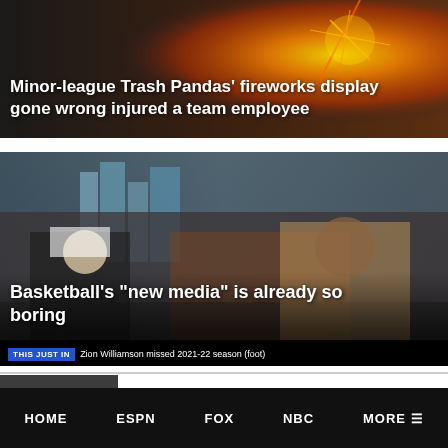[Figure (photo): News article thumbnail with orange/fire background for Minor-league Trash Pandas fireworks story]
Minor-league Trash Pandas' fireworks display gone wrong injured a team employee
[Figure (screenshot): ESPN studio screenshot showing two men at a desk with city skyline behind them and THIS JUST IN ticker showing Zion Williamson missed 2021-22 season (foot)]
Basketball's "new media" is already so boring
THIS JUST IN — Zion Williamson missed 2021-22 season (foot)
[Figure (photo): Thumbnail showing sports scene for ESPN advertising article]
ADVERTISING
ESPN launches 'The
HOME   ESPN   FOX   NBC   MORE ☰